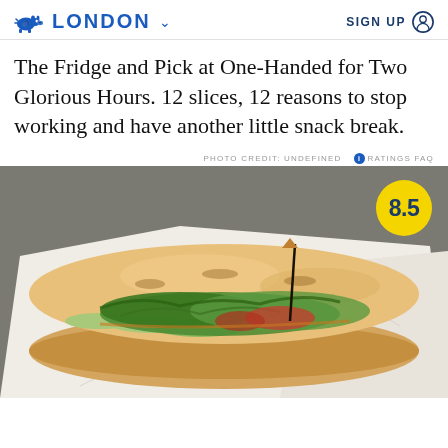LONDON   SIGN UP
The Fridge and Pick at One-Handed for Two Glorious Hours. 12 slices, 12 reasons to stop working and have another little snack break.
PHOTO CREDIT: UNDEFINED   RATINGS FAQ
[Figure (photo): A baguette sandwich filled with greens, cucumber, tomato, and sauce, wrapped in white paper, with a yellow rating badge showing 8.5 in the top right corner.]